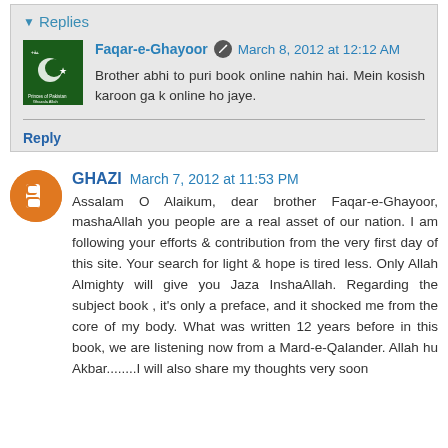Replies
Faqar-e-Ghayoor  March 8, 2012 at 12:12 AM
Brother abhi to puri book online nahin hai. Mein kosish karoon ga k online ho jaye.
Reply
GHAZI  March 7, 2012 at 11:53 PM
Assalam O Alaikum, dear brother Faqar-e-Ghayoor, mashaAllah you people are a real asset of our nation. I am following your efforts & contribution from the very first day of this site. Your search for light & hope is tired less. Only Allah Almighty will give you Jaza InshaAllah. Regarding the subject book , it's only a preface, and it shocked me from the core of my body. What was written 12 years before in this book, we are listening now from a Mard-e-Qalander. Allah hu Akbar........I will also share my thoughts very soon